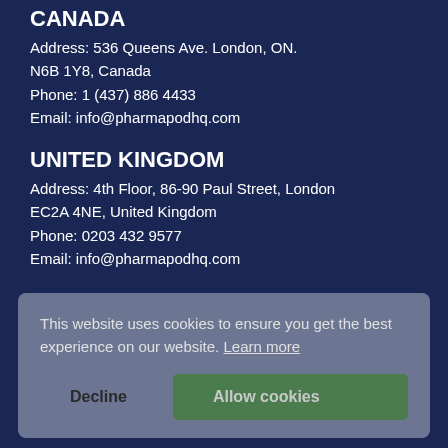CANADA
Address: 536 Queens Ave. London, ON. N6B 1Y8, Canada
Phone: 1 (437) 886 4433
Email: info@pharmapodhq.com
UNITED KINGDOM
Address: 4th Floor, 86-90 Paul Street, London EC2A 4NE, United Kingdom
Phone: 0203 432 9577
Email: info@pharmapodhq.com
This website uses cookies to ensure you get the best experience on our website. Learn more
Decline   Allow cookies